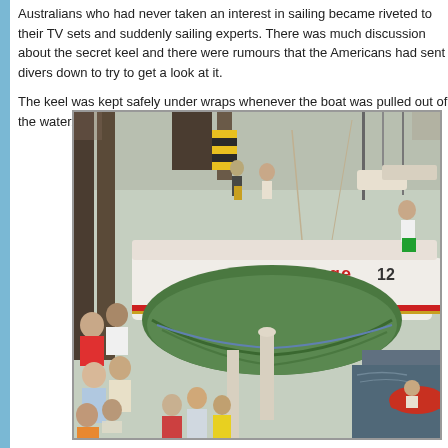Australians who had never taken an interest in sailing became riveted to their TV sets and suddenly sailing experts. There was much discussion about the secret keel and there were rumours that the Americans had sent divers down to try to get a look at it.
The keel was kept safely under wraps whenever the boat was pulled out of the water.
[Figure (photo): A vintage photograph showing a sailing yacht (Australia II) being lifted or handled in a marina/boatyard. The boat's hull is visible with a green tarpaulin covering the keel area. Crowd of spectators on the dock on the left, crew members on the boat deck. The boat has 'llenge 12' visible on the hull side. Industrial dock structures visible in the background.]